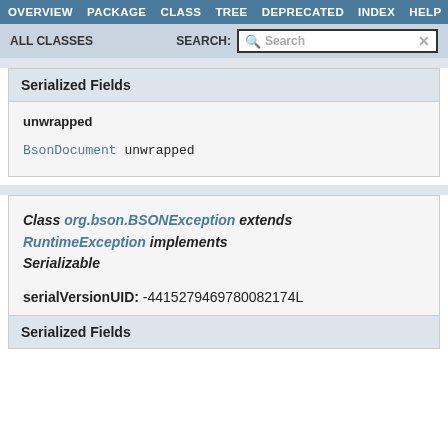OVERVIEW  PACKAGE  CLASS  TREE  DEPRECATED  INDEX  HELP
ALL CLASSES  SEARCH:
Serialized Fields
unwrapped
BsonDocument unwrapped
Class org.bson.BSONException extends RuntimeException implements Serializable
serialVersionUID: -4415279469780082174L
Serialized Fields